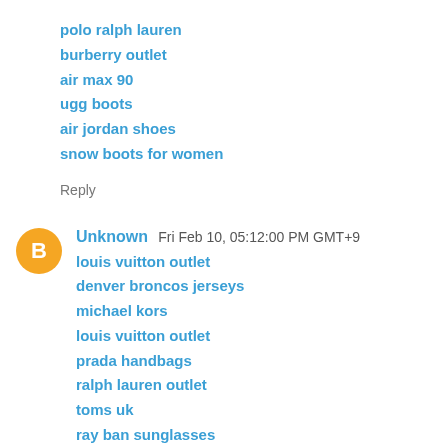polo ralph lauren
burberry outlet
air max 90
ugg boots
air jordan shoes
snow boots for women
Reply
Unknown  Fri Feb 10, 05:12:00 PM GMT+9
louis vuitton outlet
denver broncos jerseys
michael kors
louis vuitton outlet
prada handbags
ralph lauren outlet
toms uk
ray ban sunglasses
ray ban sunglasses
oakley sunglasses
20172.11wengdongdong